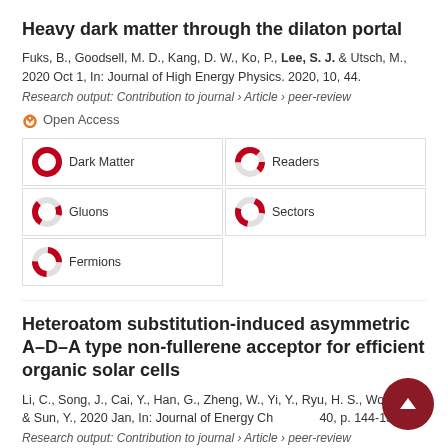Heavy dark matter through the dilaton portal
Fuks, B., Goodsell, M. D., Kang, D. W., Ko, P., Lee, S. J. & Utsch, M., 2020 Oct 1, In: Journal of High Energy Physics. 2020, 10, 44.
Research output: Contribution to journal › Article › peer-review
Open Access
Dark Matter
Readers
Gluons
Sectors
Fermions
Heteroatom substitution-induced asymmetric A–D–A type non-fullerene acceptor for efficient organic solar cells
Li, C., Song, J., Cai, Y., Han, G., Zheng, W., Yi, Y., Ryu, H. S., Woo, H. Y. & Sun, Y., 2020 Jan, In: Journal of Energy Chemistry. 40, p. 144-150 7 p.
Research output: Contribution to journal › Article › peer-review